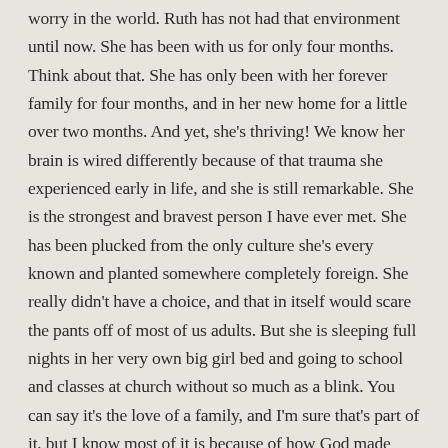worry in the world. Ruth has not had that environment until now. She has been with us for only four months. Think about that. She has only been with her forever family for four months, and in her new home for a little over two months. And yet, she's thriving! We know her brain is wired differently because of that trauma she experienced early in life, and she is still remarkable. She is the strongest and bravest person I have ever met. She has been plucked from the only culture she's every known and planted somewhere completely foreign. She really didn't have a choice, and that in itself would scare the pants off of most of us adults. But she is sleeping full nights in her very own big girl bed and going to school and classes at church without so much as a blink. You can say it's the love of a family, and I'm sure that's part of it, but I know most of it is because of how God made her- resilient.